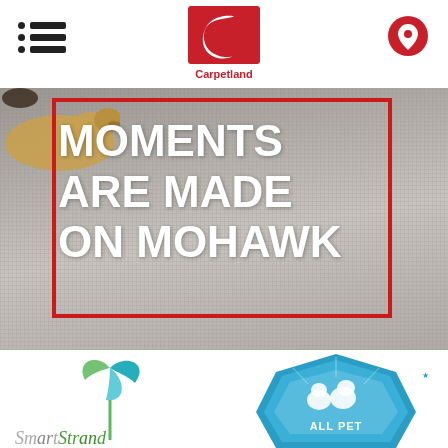Carpetland [logo with menu and location icons]
[Figure (photo): Hero banner image showing a dog lying on carpet with bold white text reading 'MOMENTS ARE MADE ON MOHAWK' inside a red rectangular border, on a grey carpet background]
[Figure (logo): SmartStrand logo (partial, bottom left) with teal/green pinwheel graphic]
[Figure (logo): ALL PET badge logo (partial, bottom right) in blue hexagonal shield shape]